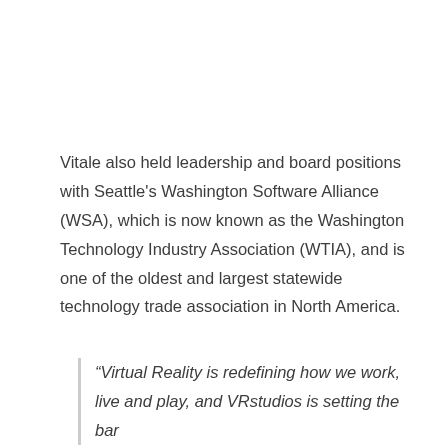Vitale also held leadership and board positions with Seattle's Washington Software Alliance (WSA), which is now known as the Washington Technology Industry Association (WTIA), and is one of the oldest and largest statewide technology trade association in North America.
“Virtual Reality is redefining how we work, live and play, and VRstudios is setting the bar